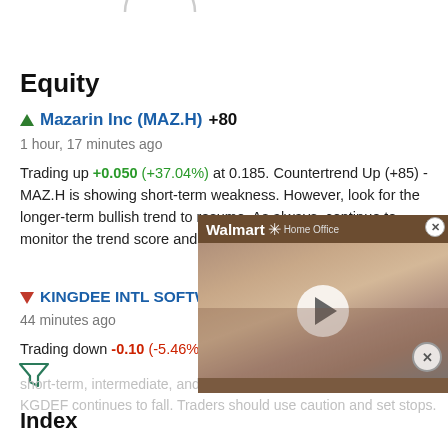[Figure (other): Partial circle graphic at top of page]
Equity
▲ Mazarin Inc (MAZ.H) +80
1 hour, 17 minutes ago
Trading up +0.050 (+37.04%) at 0.185. Countertrend Up (+85) - MAZ.H is showing short-term weakness. However, look for the longer-term bullish trend to resume. As always, continue to monitor the trend score and utilize a stop order.
▼ KINGDEE INTL SOFTWARE G
44 minutes ago
Trading down -0.10 (-5.46%) at 1.7... KGDEF is in a strong downtrend that is showing short-term, intermediate, and long-term bearish momentum. KGDEF continues to fall. Traders should use caution and set stops.
[Figure (screenshot): Walmart Home Office video overlay with play button]
Index